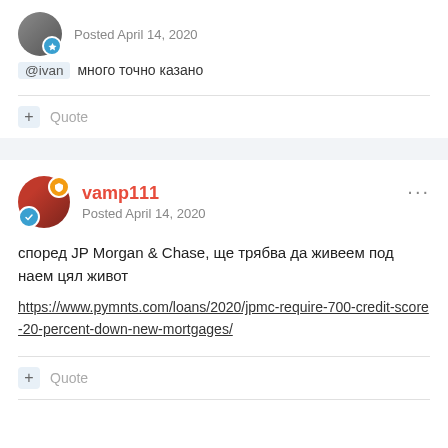Posted April 14, 2020
@ivan много точно казано
+ Quote
vamp111
Posted April 14, 2020
според JP Morgan & Chase, ще трябва да живеем под наем цял живот
https://www.pymnts.com/loans/2020/jpmc-require-700-credit-score-20-percent-down-new-mortgages/
+ Quote